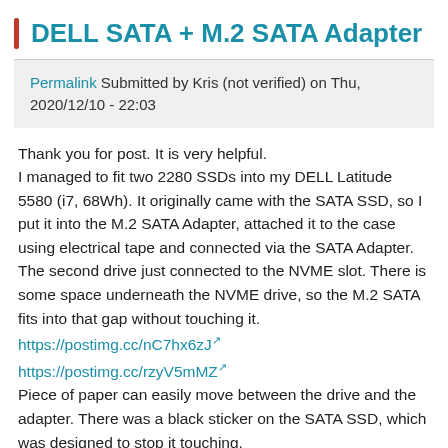DELL SATA + M.2 SATA Adapter
Permalink Submitted by Kris (not verified) on Thu, 2020/12/10 - 22:03
Thank you for post. It is very helpful. I managed to fit two 2280 SSDs into my DELL Latitude 5580 (i7, 68Wh). It originally came with the SATA SSD, so I put it into the M.2 SATA Adapter, attached it to the case using electrical tape and connected via the SATA Adapter. The second drive just connected to the NVME slot. There is some space underneath the NVME drive, so the M.2 SATA fits into that gap without touching it. https://postimg.cc/nC7hx6zJ https://postimg.cc/rzyV5mMZ Piece of paper can easily move between the drive and the adapter. There was a black sticker on the SATA SSD, which was designed to stop it touching.